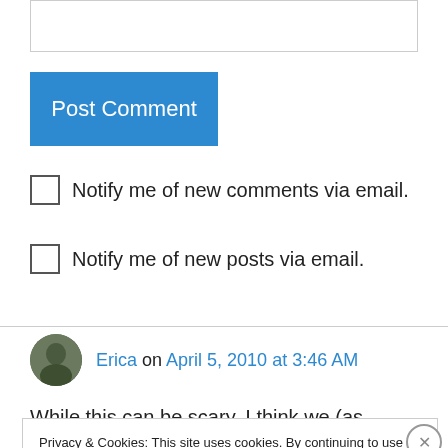[Figure (screenshot): A text input box (comment textarea) at the top of the page]
Post Comment
Notify me of new comments via email.
Notify me of new posts via email.
Erica on April 5, 2010 at 3:46 AM
While this can be scary, I think we (as
Privacy & Cookies: This site uses cookies. By continuing to use this website, you agree to their use.
To find out more, including how to control cookies, see here: Cookie Policy
Close and accept